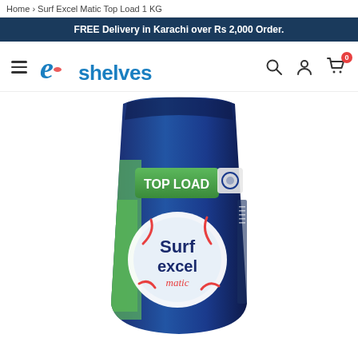Home › Surf Excel Matic Top Load 1 KG
FREE Delivery in Karachi over Rs 2,000 Order.
[Figure (logo): eShelves logo with hamburger menu and navigation icons (search, account, cart with 0 badge)]
[Figure (photo): Surf Excel Matic Top Load 1 KG detergent powder blue packaging bag with green Top Load label]